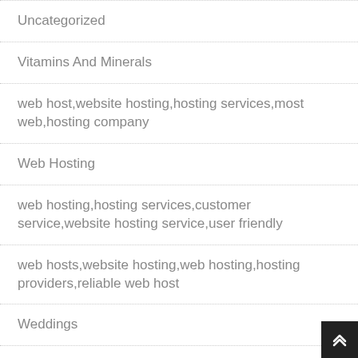Uncategorized
Vitamins And Minerals
web host,website hosting,hosting services,most web,hosting company
Web Hosting
web hosting,hosting services,customer service,website hosting service,user friendly
web hosts,website hosting,web hosting,hosting providers,reliable web host
Weddings
workout routine